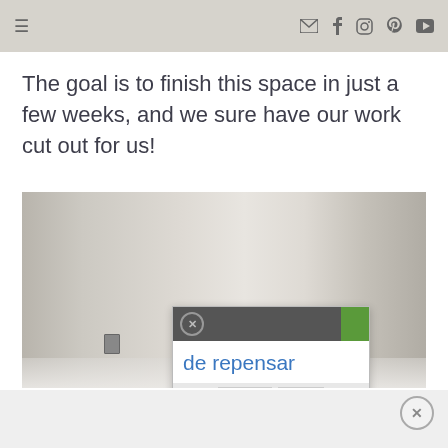Navigation bar with hamburger menu and social icons (email, facebook, instagram, pinterest, youtube)
The goal is to finish this space in just a few weeks, and we sure have our work cut out for us!
[Figure (photo): Interior room photo showing bare white/beige walls in an unfinished space, with a small electrical outlet visible on one wall. An overlaid advertisement popup shows 'de repensar' in blue text on a white panel, with a dark gray header bar containing a close button and green accent strip. A bottom portion shows a white and light gray bar with boxes.]
[Figure (screenshot): Bottom right close button (X) circle overlay]